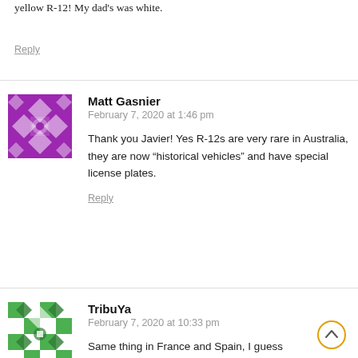yellow R-12! My dad’s was white.
Reply
Matt Gasnier
February 7, 2020 at 1:46 pm
Thank you Javier! Yes R-12s are very rare in Australia, they are now “historical vehicles” and have special license plates.
Reply
TribuYa
February 7, 2020 at 10:33 pm
Same thing in France and Spain, I guess